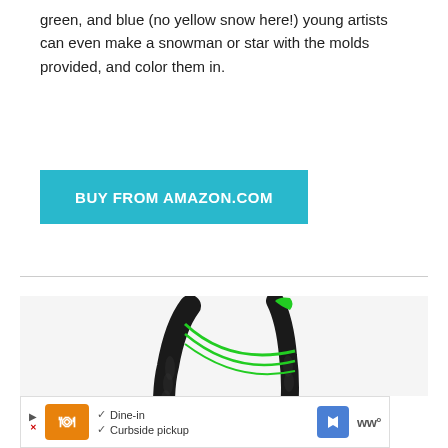green, and blue (no yellow snow here!) young artists can even make a snowman or star with the molds provided, and color them in.
BUY FROM AMAZON.COM
[Figure (photo): A black and green slingshot toy product photo on a light gray background]
Dine-in  Curbside pickup